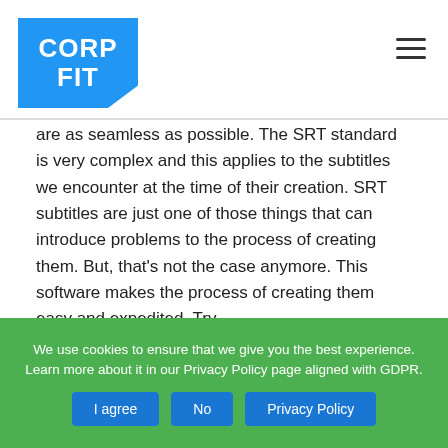CORP FIT
are as seamless as possible. The SRT standard is very complex and this applies to the subtitles we encounter at the time of their creation. SRT subtitles are just one of those things that can introduce problems to the process of creating them. But, that's not the case anymore. This software makes the process of creating them easy and expedited. Try https://netfmarpusa.weebly.com
6add127376 wambdegu
We use cookies to ensure that we give you the best experience. Learn more about it in our Privacy Policy page aligned with GDPR. [I agree] [No] [Privacy Policy]